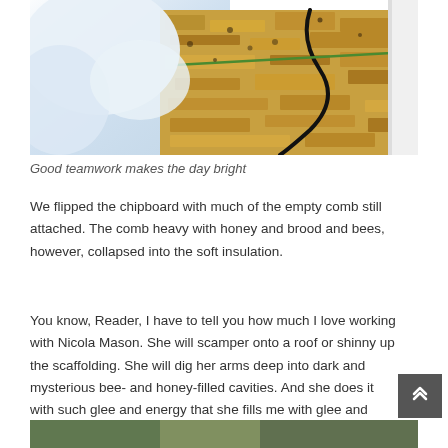[Figure (photo): A photo showing chipboard with comb and bees, alongside white insulation material viewed from above.]
Good teamwork makes the day bright
We flipped the chipboard with much of the empty comb still attached. The comb heavy with honey and brood and bees, however, collapsed into the soft insulation.
You know, Reader, I have to tell you how much I love working with Nicola Mason. She will scamper onto a roof or shinny up the scaffolding. She will dig her arms deep into dark and mysterious bee- and honey-filled cavities. And she does it with such glee and energy that she fills me with glee and energy too. She is a giver of enthusiasm.
[Figure (photo): Bottom portion of another photo partially visible at the bottom of the page.]